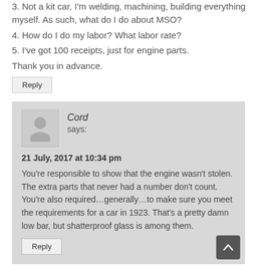3. Not a kit car, I'm welding, machining, building everything myself. As such, what do I do about MSO?
4. How do I do my labor? What labor rate?
5. I've got 100 receipts, just for engine parts.
Thank you in advance.
Reply
Cord
says:
21 July, 2017 at 10:34 pm
You're responsible to show that the engine wasn't stolen. The extra parts that never had a number don't count. You're also required…generally…to make sure you meet the requirements for a car in 1923. That's a pretty damn low bar, but shatterproof glass is among them.
Reply